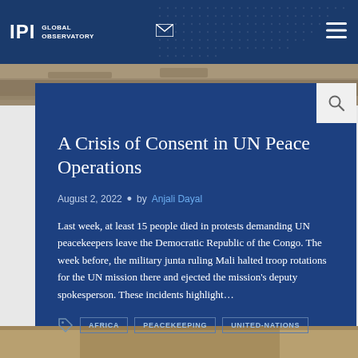IPI GLOBAL OBSERVATORY
A Crisis of Consent in UN Peace Operations
August 2, 2022 • by Anjali Dayal
Last week, at least 15 people died in protests demanding UN peacekeepers leave the Democratic Republic of the Congo. The week before, the military junta ruling Mali halted troop rotations for the UN mission there and ejected the mission's deputy spokesperson. These incidents highlight…
AFRICA
PEACEKEEPING
UNITED-NATIONS